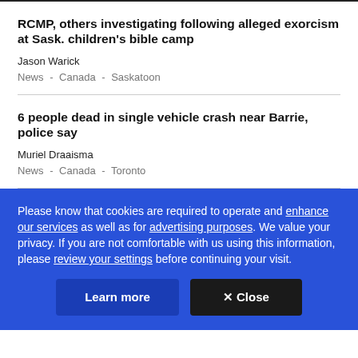RCMP, others investigating following alleged exorcism at Sask. children's bible camp
Jason Warick
News - Canada - Saskatoon
6 people dead in single vehicle crash near Barrie, police say
Muriel Draaisma
News - Canada - Toronto
Please know that cookies are required to operate and enhance our services as well as for advertising purposes. We value your privacy. If you are not comfortable with us using this information, please review your settings before continuing your visit.